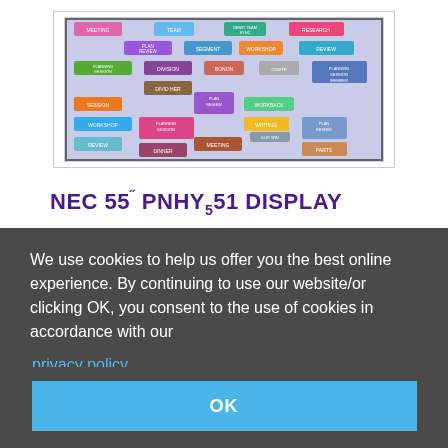[Figure (infographic): Colorful meeting/planning schedule diagram on a light purple/blue background with various labeled boxes like PLAN REVIEW, WORKSHOP, PLANNING SESSION, SESSION, MEETING, etc.]
NEC 55" PNHY551 DISPLAY
We use cookies to help us offer you the best online experience. By continuing to use our website/or clicking OK, you consent to the use of cookies in accordance with our privacy policy
OK